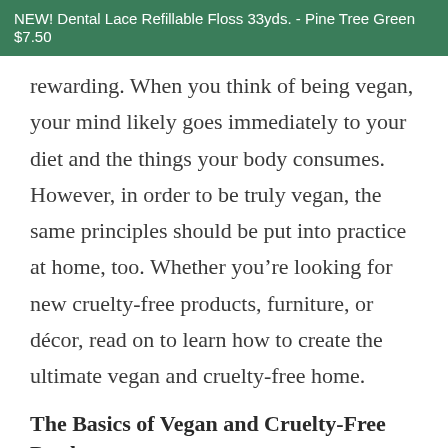NEW! Dental Lace Refillable Floss 33yds. - Pine Tree Green $7.50
rewarding. When you think of being vegan, your mind likely goes immediately to your diet and the things your body consumes. However, in order to be truly vegan, the same principles should be put into practice at home, too. Whether you’re looking for new cruelty-free products, furniture, or décor, read on to learn how to create the ultimate vegan and cruelty-free home.
The Basics of Vegan and Cruelty-Free Products